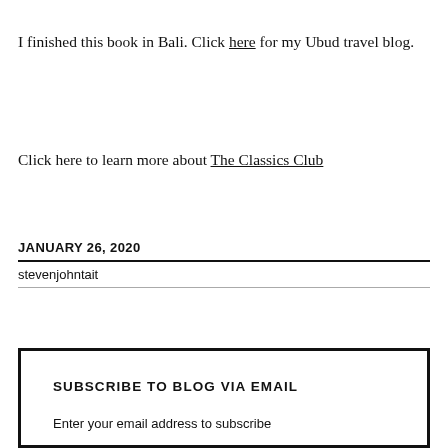I finished this book in Bali. Click here for my Ubud travel blog.
Click here to learn more about The Classics Club
JANUARY 26, 2020
stevenjohntait
SUBSCRIBE TO BLOG VIA EMAIL
Enter your email address to subscribe